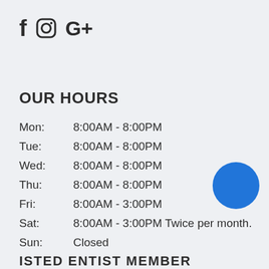[Figure (logo): Social media icons: Facebook (f), Instagram (camera icon), Google Plus (G+)]
OUR HOURS
| Mon: | 8:00AM - 8:00PM |
| Tue: | 8:00AM - 8:00PM |
| Wed: | 8:00AM - 8:00PM |
| Thu: | 8:00AM - 8:00PM |
| Fri: | 8:00AM - 3:00PM |
| Sat: | 8:00AM - 3:00PM Twice per month. |
| Sun: | Closed |
[Figure (illustration): Blue filled circle, decorative UI element]
ISTED ENTIST MEMBER